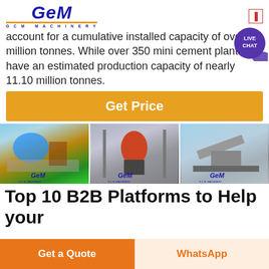[Figure (logo): GCM Machinery logo with blue italic text and gold underline]
account for a cumulative installed capacity of over million tonnes. While over 350 mini cement plants have an estimated production capacity of nearly 11.10 million tonnes.
[Figure (other): Live Chat bubble button, purple circle with LIVE CHAT text]
[Figure (other): Get Price orange button]
[Figure (photo): Three GCM Machinery equipment photos side by side: sand washer, cone crusher in workshop, mobile crushing plant]
Top 10 B2B Platforms to Help your
[Figure (other): Get a Quote orange button and WhatsApp button at bottom of page]